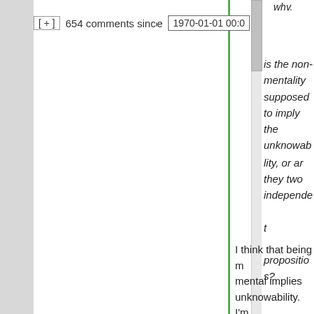[ + ]  654 comments since   1970-01-01 00:0
is the non-mentality supposed to imply the unknowability, or are they two independent propositions?
I think that being mental implies unknowability. I'm if that's the case f